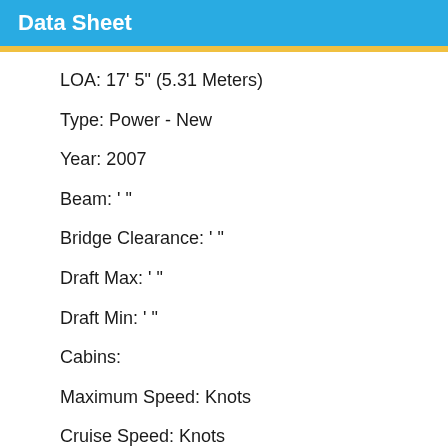Data Sheet
LOA: 17' 5" (5.31 Meters)
Type: Power - New
Year: 2007
Beam: ' "
Bridge Clearance: ' "
Draft Max: ' "
Draft Min: ' "
Cabins:
Maximum Speed: Knots
Cruise Speed: Knots
Range NMI: